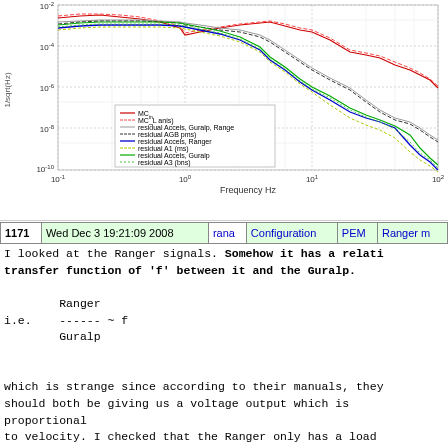[Figure (continuous-plot): Log-log frequency spectrum plot showing multiple overlaid curves (MC_in, MC_L anis, residual Accels, Guralp, Ranger, residual AGB pms, residual Accels Ranger, residual A1 ms, residual Accels Guralp, residual A3 bns). X-axis: Frequency Hz, Y-axis: units in m/sqrt(Hz) scale 10^-2 to 10^-6 range. Red, green, blue, gray, dashed lines shown.]
| 1171 | Wed Dec 3 19:21:09 2008 | rana | Configuration | PEM | Ranger m |
| --- | --- | --- | --- | --- | --- |
I looked at the Ranger signals. Somehow it has a relative transfer function of 'f' between it and the Guralp.

        Ranger
i.e.    ------ ~ f
        Guralp


which is strange since according to their manuals, they should both be giving us a voltage output which is proportional
to velocity. I checked that the Ranger only has a load resistor and then an SR560 low pass at 300 Hz. Jenne assures
me that the Guralp breakout box shouldn't have any rel